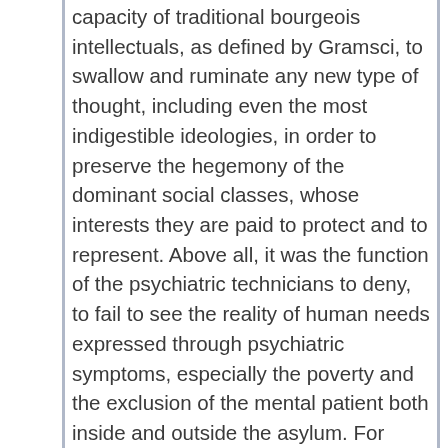capacity of traditional bourgeois intellectuals, as defined by Gramsci, to swallow and ruminate any new type of thought, including even the most indigestible ideologies, in order to preserve the hegemony of the dominant social classes, whose interests they are paid to protect and to represent. Above all, it was the function of the psychiatric technicians to deny, to fail to see the reality of human needs expressed through psychiatric symptoms, especially the poverty and the exclusion of the mental patient both inside and outside the asylum. For Basaglia the psychiatric technicians diagnosed, with greater and greater precision and specificity, thus fragmenting the problem of 'mental illness'